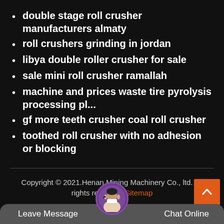double stage roll crusher manufacturers almaty
roll crushers grinding in jordan
libya double roller crusher for sale
sale mini roll crusher ramallah
machine and prices waste tire pyrolysis processing pl…
gf more teeth crusher coal roll crusher
toothed roll crusher with no adhesion or blocking
Copyright © 2021.Henan Mining Machinery Co., ltd. All rights reserved. Sitemap
Leave Message   Chat Online